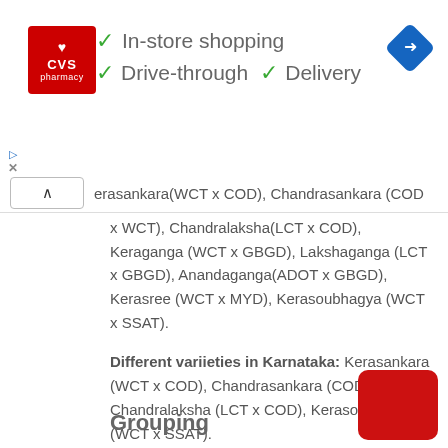[Figure (infographic): CVS Pharmacy advertisement banner with logo, checkmarks for In-store shopping, Drive-through, and Delivery, plus a navigation arrow icon]
erasankara(WCT x COD), Chandrasankara (COD x WCT), Chandralaksha(LCT x COD), Keraganga (WCT x GBGD), Lakshaganga (LCT x GBGD), Anandaganga(ADOT x GBGD), Kerasree (WCT x MYD), Kerasoubhagya (WCT x SSAT).
Different variieties in Karnataka: Kerasankara (WCT x COD), Chandrasankara (COD x WCT), Chandralaksha (LCT x COD), Kerasoubhagya (WCT x SSAT).
Grouping